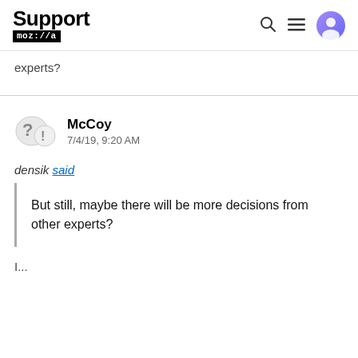Support moz://a
experts?
McCoy
7/4/19, 9:20 AM
densik said
But still, maybe there will be more decisions from other experts?
I...